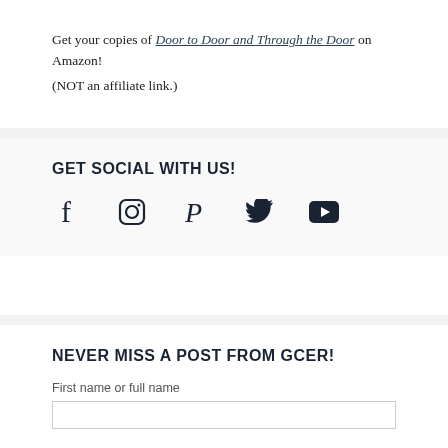Get your copies of Door to Door and Through the Door on Amazon! (NOT an affiliate link.)
GET SOCIAL WITH US!
[Figure (infographic): Row of five social media icons: Facebook (f), Instagram (camera), Pinterest (P), Twitter (bird), YouTube (play button)]
NEVER MISS A POST FROM GCER!
First name or full name